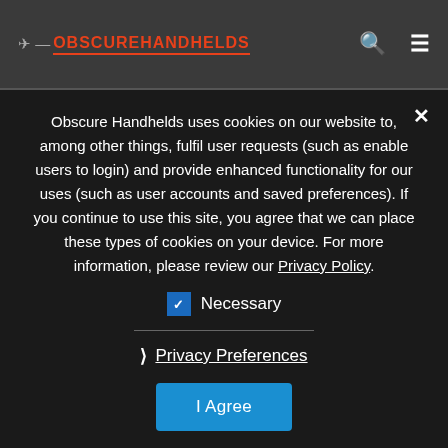OBSCUREHANDHELDS
Obscure Handhelds uses cookies on our website to, among other things, fulfil user requests (such as enable users to login) and provide enhanced functionality for our uses (such as user accounts and saved preferences). If you continue to use this site, you agree that we can place these types of cookies on your device. For more information, please review our Privacy Policy.
Necessary
Privacy Preferences
I Agree
Leave a Reply